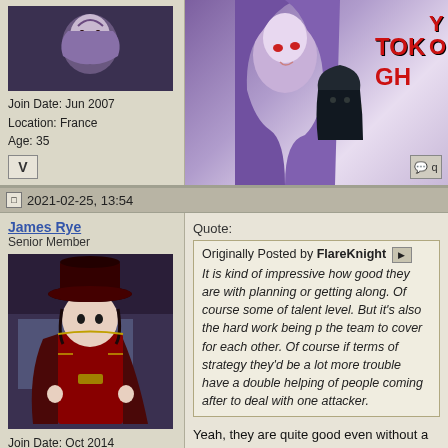[Figure (illustration): Anime-style artwork showing two characters with purple/dark hair, and partial text 'TOKYO GHO...' in red on right side]
Join Date: Jun 2007
Location: France
Age: 35
2021-02-25, 13:54
James Rye
Senior Member
[Figure (illustration): Anime character illustration - a girl in red/dark fantasy costume with large hat]
Join Date: Oct 2014
Location: Germany
Quote:
Originally Posted by FlareKnight
It is kind of impressive how good they are with planning or getting along. Of course some of talent level. But it's also the hard work being p the team to cover for each other. Of course if terms of strategy they'd be a lot more trouble have a double helping of people coming after to deal with one attacker.
Yeah, they are quite good even without a real pla keep the squad together but she can only do so m and the opponents real and possible movements strategies for her teammates.
I think there is only one Operator in Border who is Captain at the same time and that's someone in...